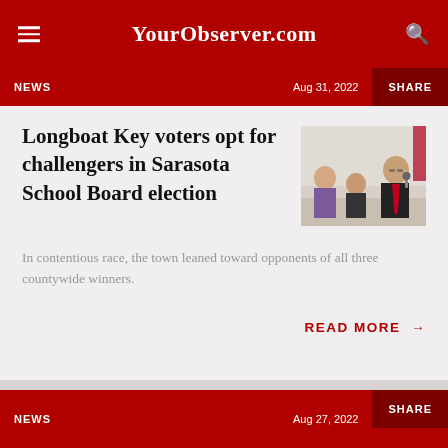YourObserver.com
NEWS | Aug 31, 2022 | SHARE
Longboat Key voters opt for challengers in Sarasota School Board election
[Figure (photo): Panel of three people seated at a table, one man in foreground speaking with red tie]
In contentious race, the town leaned toward opponents of all three countywide winners.
READ MORE →
NEWS | Aug 27, 2022 | SHARE